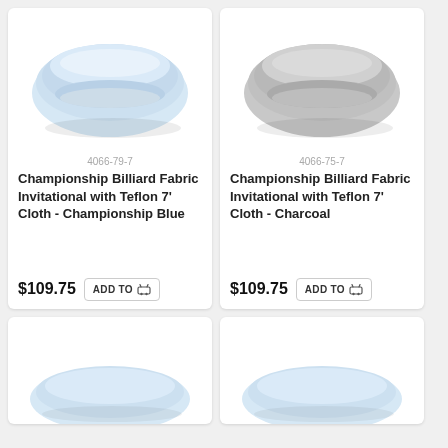[Figure (photo): Folded light blue billiard cloth/fabric]
4066-79-7
Championship Billiard Fabric Invitational with Teflon 7' Cloth - Championship Blue
$109.75  ADD TO CART
[Figure (photo): Folded light gray/charcoal billiard cloth/fabric]
4066-75-7
Championship Billiard Fabric Invitational with Teflon 7' Cloth - Charcoal
$109.75  ADD TO CART
[Figure (photo): Folded light blue billiard cloth/fabric (partial, bottom card)]
[Figure (photo): Folded light blue billiard cloth/fabric (partial, bottom card right)]